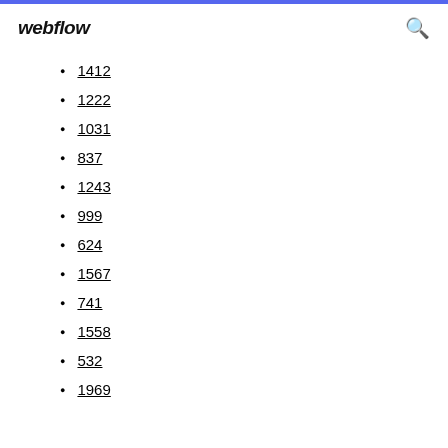webflow
1412
1222
1031
837
1243
999
624
1567
741
1558
532
1969